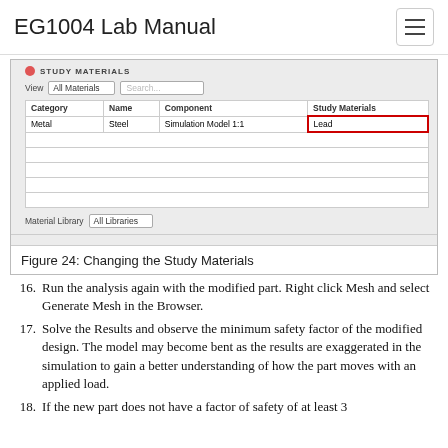EG1004 Lab Manual
[Figure (screenshot): Screenshot of Study Materials dialog in simulation software. Shows a table with columns Category, Name, Component, Study Materials. Row contains: Metal, Steel, Simulation Model 1:1, Lead (highlighted with red border). Has View dropdown set to All Materials, Search box, and Material Library dropdown set to All Libraries.]
Figure 24: Changing the Study Materials
16. Run the analysis again with the modified part. Right click Mesh and select Generate Mesh in the Browser.
17. Solve the Results and observe the minimum safety factor of the modified design. The model may become bent as the results are exaggerated in the simulation to gain a better understanding of how the part moves with an applied load.
18. If the new part does not have a factor of safety of at least 3